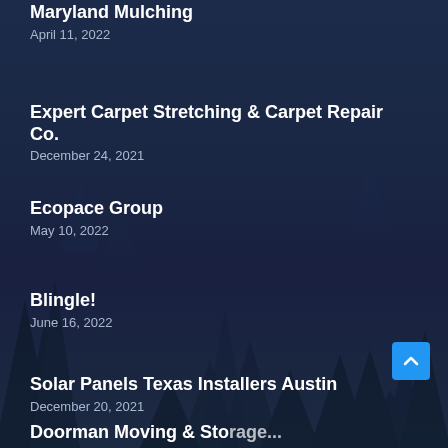Maryland Mulching
April 11, 2022
Expert Carpet Stretching & Carpet Repair Co.
December 24, 2021
Ecopace Group
May 10, 2022
Blingle!
June 16, 2022
Solar Panels Texas Installers Austin
December 20, 2021
Doorman Moving & Storage...